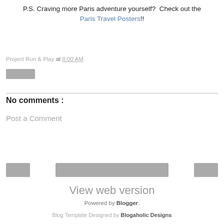P.S. Craving more Paris adventure yourself?  Check out the Paris Travel Posters!!
Project Run & Play at 8:00 AM
[Figure (other): Small gray rectangle button]
No comments :
Post a Comment
[Figure (other): Three gray rectangles as navigation/action buttons at bottom]
View web version
Powered by Blogger.
Blog Template Designed by Blogaholic Designs